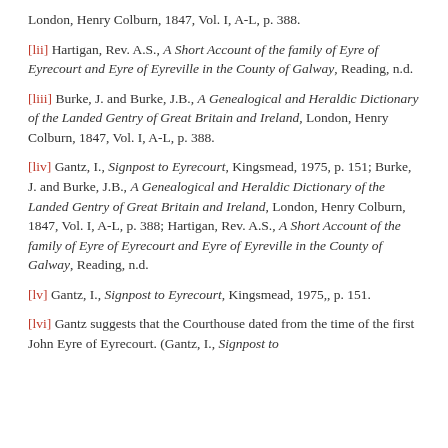London, Henry Colburn, 1847, Vol. I, A-L, p. 388.
[lii] Hartigan, Rev. A.S., A Short Account of the family of Eyre of Eyrecourt and Eyre of Eyreville in the County of Galway, Reading, n.d.
[liii] Burke, J. and Burke, J.B., A Genealogical and Heraldic Dictionary of the Landed Gentry of Great Britain and Ireland, London, Henry Colburn, 1847, Vol. I, A-L, p. 388.
[liv] Gantz, I., Signpost to Eyrecourt, Kingsmead, 1975, p. 151; Burke, J. and Burke, J.B., A Genealogical and Heraldic Dictionary of the Landed Gentry of Great Britain and Ireland, London, Henry Colburn, 1847, Vol. I, A-L, p. 388; Hartigan, Rev. A.S., A Short Account of the family of Eyre of Eyrecourt and Eyre of Eyreville in the County of Galway, Reading, n.d.
[lv] Gantz, I., Signpost to Eyrecourt, Kingsmead, 1975,, p. 151.
[lvi] Gantz suggests that the Courthouse dated from the time of the first John Eyre of Eyrecourt. (Gantz, I., Signpost to